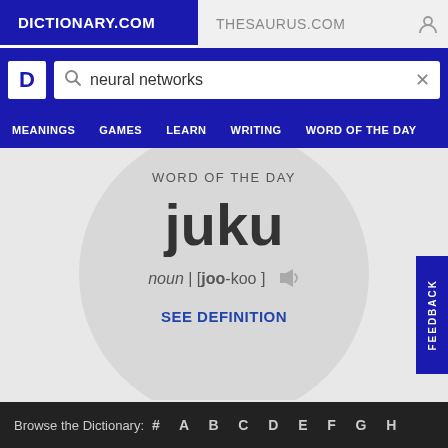DICTIONARY.COM | THESAURUS.COM
[Figure (screenshot): Dictionary.com logo D icon and search bar with text 'neural networks']
MEANINGS  GAMES  LEARN  WRITING  WORD OF THE DAY
WORD OF THE DAY
juku
noun | [joo-koo]
SEE DEFINITION
Browse the Dictionary:  #  A  B  C  D  E  F  G  H